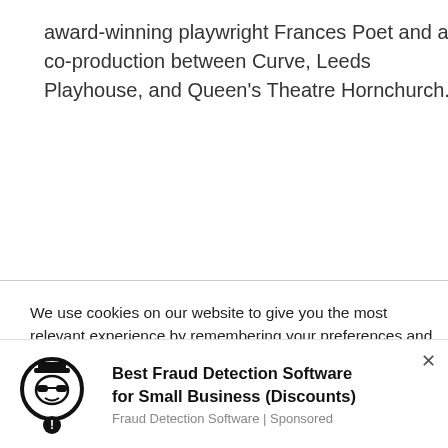award-winning playwright Frances Poet and a co-production between Curve, Leeds Playhouse, and Queen's Theatre Hornchurch.
We use cookies on our website to give you the most relevant experience by remembering your preferences and repeat visits. By clicking “Accept All”, you consent to the use of ALL the cookies. However, you may visit "Cookie Settings" to provide a controlled consent.
[Figure (illustration): Advertisement: circular logo icon of a detective/spy figure with hat, sunglasses, and exclamation mark. Ad for Best Fraud Detection Software for Small Business (Discounts) by Fraud Detection Software, Sponsored.]